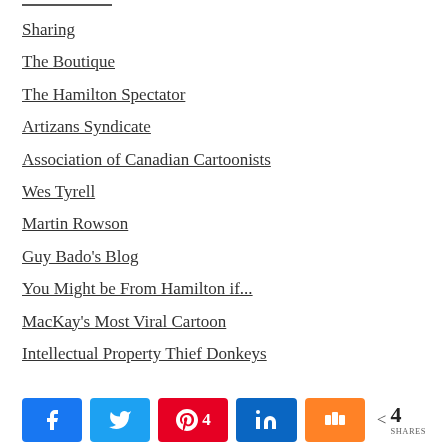Sharing
The Boutique
The Hamilton Spectator
Artizans Syndicate
Association of Canadian Cartoonists
Wes Tyrell
Martin Rowson
Guy Bado's Blog
You Might be From Hamilton if...
MacKay's Most Viral Cartoon
Intellectual Property Thief Donkeys
[Figure (infographic): Social share bar with Facebook, Twitter, Pinterest (4), LinkedIn, Mix buttons and total share count of 4]